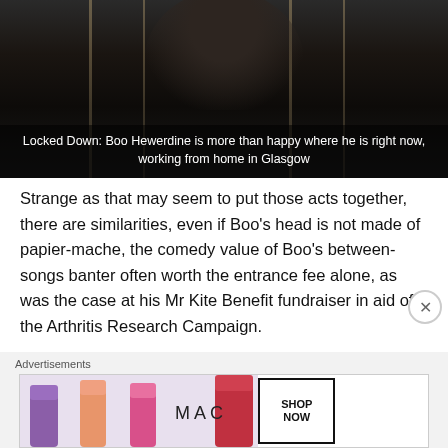[Figure (photo): Dark artistic photo of a person (Boo Hewerdine) with vertical lines (likely bow strings or architectural elements) in low-key lighting]
Locked Down: Boo Hewerdine is more than happy where he is right now, working from home in Glasgow
Strange as that may seem to put those acts together, there are similarities, even if Boo's head is not made of papier-mache, the comedy value of Boo's between-songs banter often worth the entrance fee alone, as was the case at his Mr Kite Benefit fundraiser in aid of the Arthritis Research Campaign.
Advertisements
[Figure (photo): MAC cosmetics advertisement banner showing lipsticks in purple, peach, pink, and red colors with MAC logo and SHOP NOW button]